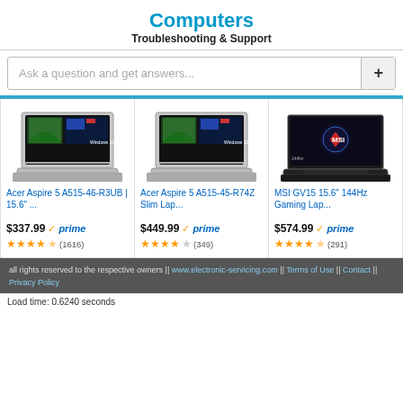Computers
Troubleshooting & Support
Ask a question and get answers...
[Figure (screenshot): Three laptop product cards: Acer Aspire 5 A515-46-R3UB, Acer Aspire 5 A515-45-R74Z, MSI GV15 15.6 144Hz Gaming Laptop, each with price and star ratings]
all rights reserved to the respective owners || www.electronic-servicing.com || Terms of Use || Contact || Privacy Policy
Load time: 0.6240 seconds